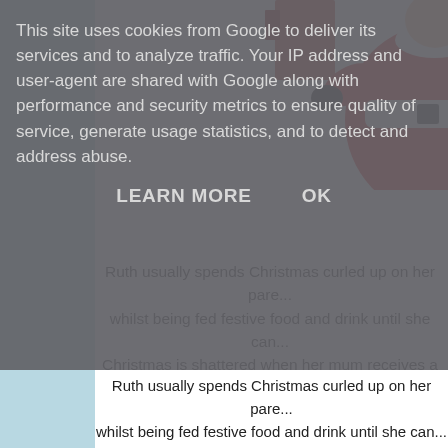[Figure (screenshot): Cookie consent overlay banner (grey semi-transparent) over a webpage. The webpage shows a light blue left sidebar, a partial illustration of a figure in a red outfit (Santa-like), and truncated body text about Ruth spending Christmas curled up on her parents' sofa.]
This site uses cookies from Google to deliver its services and to analyze traffic. Your IP address and user-agent are shared with Google along with performance and security metrics to ensure quality of service, generate usage statistics, and to detect and address abuse.
LEARN MORE    OK
Ruth usually spends Christmas curled up on her pare... whilst being fed festive food and drink until she can... Christmas is shattered when her mum receives a DIY... take over the prepara...
Shopping. Cooking. A house full...
Christmas may no longer be the most w...